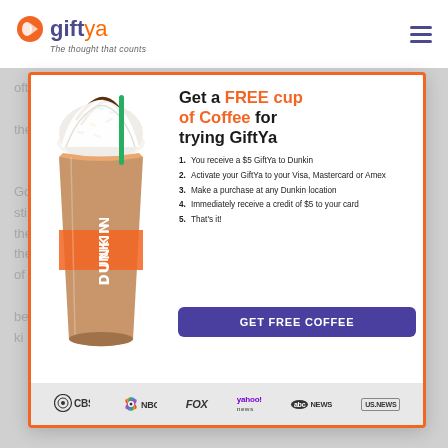[Figure (logo): GiftYa logo with orange circle icon, text 'gift' in dark blue bold and 'ya' in orange, tagline 'The thought that counts']
[Figure (illustration): Dunkin Donuts iced coffee cup with whipped cream and rainbow sprinkles on top]
Get a FREE cup of Coffee for trying GiftYa
1. You receive a $5 GiftYa to Dunkin
2. Activate your GiftYa to your Visa, Mastercard or Amex
3. Make a purchase at any Dunkin location
4. Immediately receive a credit of $5 to your card
5. That's it!
GET FREE COFFEE
[Figure (infographic): Media logos bar showing CBS, NBC, FOX, yahoo! news, abc NEWS, US.NEWS]